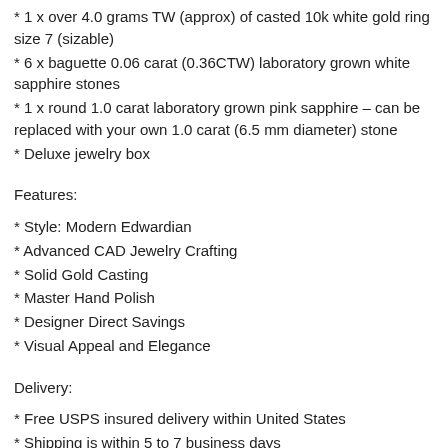* 1 x over 4.0 grams TW (approx) of casted 10k white gold ring size 7 (sizable)
* 6 x baguette 0.06 carat (0.36CTW) laboratory grown white sapphire stones
* 1 x round 1.0 carat laboratory grown pink sapphire – can be replaced with your own 1.0 carat (6.5 mm diameter) stone
* Deluxe jewelry box
Features:
* Style: Modern Edwardian
* Advanced CAD Jewelry Crafting
* Solid Gold Casting
* Master Hand Polish
* Designer Direct Savings
* Visual Appeal and Elegance
Delivery:
* Free USPS insured delivery within United States
* Shipping is within 5 to 7 business days